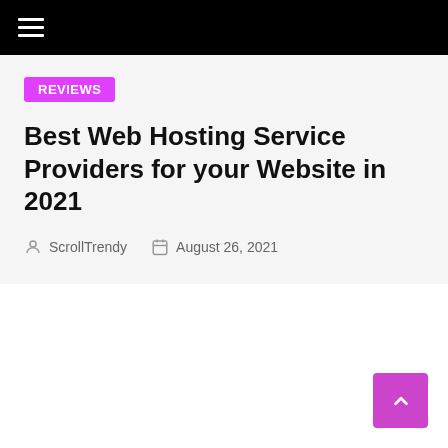Navigation bar with hamburger menu
REVIEWS
Best Web Hosting Service Providers for your Website in 2021
ScrollTrendy   August 26, 2021